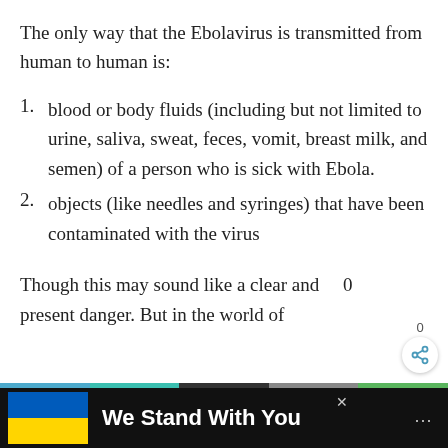The only way that the Ebolavirus is transmitted from human to human is:
blood or body fluids (including but not limited to urine, saliva, sweat, feces, vomit, breast milk, and semen) of a person who is sick with Ebola.
objects (like needles and syringes) that have been contaminated with the virus
Though this may sound like a clear and present danger. But in the world of
[Figure (other): Ukraine solidarity advertisement banner at bottom reading 'We Stand With You' with blue and yellow Ukrainian flag colors on black background]